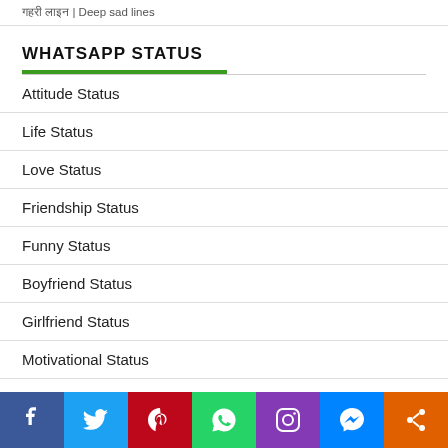गहरी लाइन | Deep sad lines
WHATSAPP STATUS
Attitude Status
Life Status
Love Status
Friendship Status
Funny Status
Boyfriend Status
Girlfriend Status
Motivational Status
[Figure (infographic): Social sharing bar with icons for Facebook, Twitter, Pinterest, WhatsApp, Instagram, Messenger, and Share]